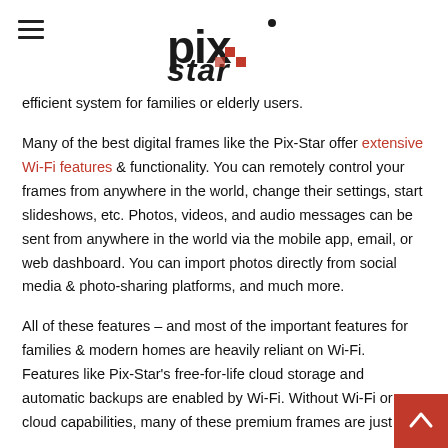Pix-Star logo and navigation
efficient system for families or elderly users.
Many of the best digital frames like the Pix-Star offer extensive Wi-Fi features & functionality. You can remotely control your frames from anywhere in the world, change their settings, start slideshows, etc. Photos, videos, and audio messages can be sent from anywhere in the world via the mobile app, email, or web dashboard. You can import photos directly from social media & photo-sharing platforms, and much more.
All of these features – and most of the important features for families & modern homes are heavily reliant on Wi-Fi. Features like Pix-Star's free-for-life cloud storage and automatic backups are enabled by Wi-Fi. Without Wi-Fi or cloud capabilities, many of these premium frames are just...